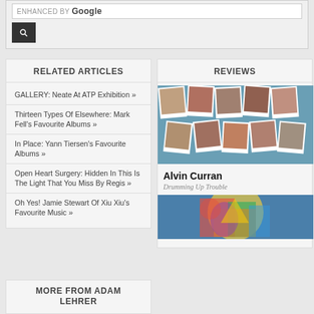[Figure (screenshot): Google search bar with search button]
RELATED ARTICLES
GALLERY: Neate At ATP Exhibition »
Thirteen Types Of Elsewhere: Mark Fell's Favourite Albums »
In Place: Yann Tiersen's Favourite Albums »
Open Heart Surgery: Hidden In This Is The Light That You Miss By Regis »
Oh Yes! Jamie Stewart Of Xiu Xiu's Favourite Music »
REVIEWS
[Figure (photo): Photo collage of multiple polaroid-style photos of the same woman]
Alvin Curran
Drumming Up Trouble
[Figure (photo): Colourful album artwork with abstract figures]
MORE FROM ADAM LEHRER